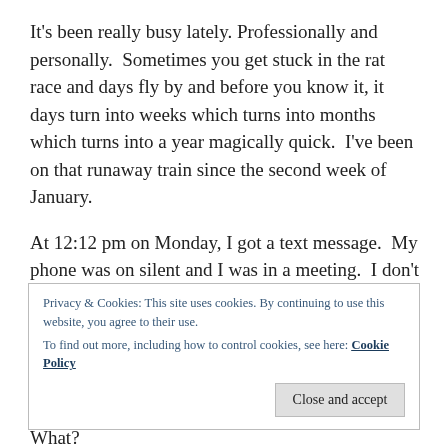It's been really busy lately. Professionally and personally.  Sometimes you get stuck in the rat race and days fly by and before you know it, it days turn into weeks which turns into months which turns into a year magically quick.  I've been on that runaway train since the second week of January.
At 12:12 pm on Monday, I got a text message.  My phone was on silent and I was in a meeting.  I don't know why but i happened to turn my phone over which was face down on the boardroom table.  It was a rather long text from Nico.
Privacy & Cookies: This site uses cookies. By continuing to use this website, you agree to their use.
To find out more, including how to control cookies, see here: Cookie Policy
What?